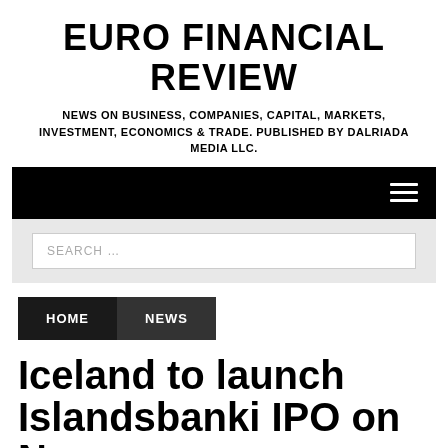EURO FINANCIAL REVIEW
NEWS ON BUSINESS, COMPANIES, CAPITAL, MARKETS, INVESTMENT, ECONOMICS & TRADE. PUBLISHED BY DALRIADA MEDIA LLC.
[Figure (other): Black navigation bar with hamburger menu icon (three horizontal white lines) on the right side]
[Figure (other): Search bar input field on light grey background with placeholder text 'SEARCH ...']
HOME
NEWS
Iceland to launch Islandsbanki IPO on No...